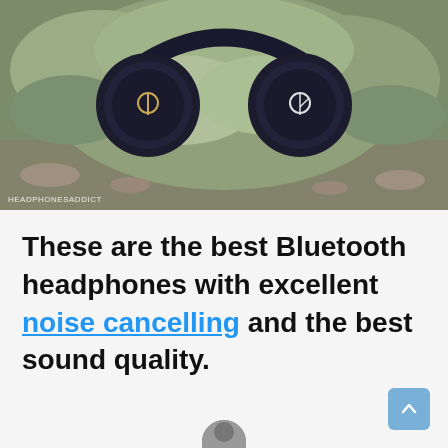[Figure (photo): Black over-ear Bluetooth headphones with Anker/Soundcore logo on earcups, placed on silvery-green foliage/plant. Watermark reads HEADPHONESADDICT in bottom-left corner.]
These are the best Bluetooth headphones with excellent noise cancelling and the best sound quality.